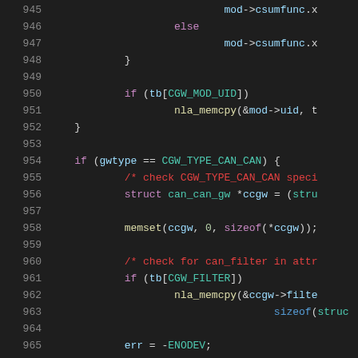[Figure (screenshot): Source code viewer showing C kernel code lines 945-965, dark theme with syntax highlighting. Lines show code for CAN gateway module including memcpy calls, gwtype checks, and memory operations.]